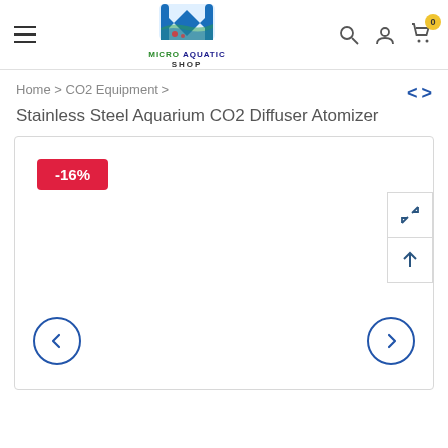[Figure (logo): Micro Aquatic Shop logo - M shape with aquatic scene, colored blue/red/green, text MICRO AQUATIC SHOP below]
Home > CO2 Equipment > Stainless Steel Aquarium CO2 Diffuser Atomizer
[Figure (screenshot): Product image area with -16% discount badge (red), side action buttons (resize and scroll), and carousel navigation arrows (left and right circles)]